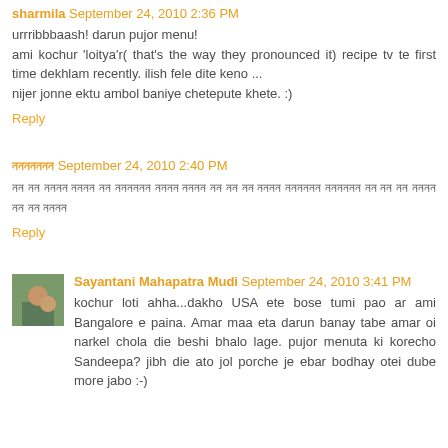sharmila  September 24, 2010 2:36 PM
urrribbbaash! darun pujor menu!
ami kochur 'loitya'r( that's the way they pronounced it) recipe tv te first time dekhlam recently. ilish fele dite keno ... nijer jonne ektu ambol baniye chetepute khete. :)
Reply
ননননননন  September 24, 2010 2:40 PM
নন নন নননন নননন নন নননননন নননন নননন নন নন নন নননন নননননন নননননন নন নন নন নননন
Reply
Sayantani Mahapatra Mudi  September 24, 2010 3:41 PM
kochur loti ahha...dakho USA ete bose tumi pao ar ami Bangalore e paina. Amar maa eta darun banay tabe amar oi narkel chola die beshi bhalo lage. pujor menuta ki korecho Sandeepa? jibh die ato jol porche je ebar bodhay otei dube more jabo :-)